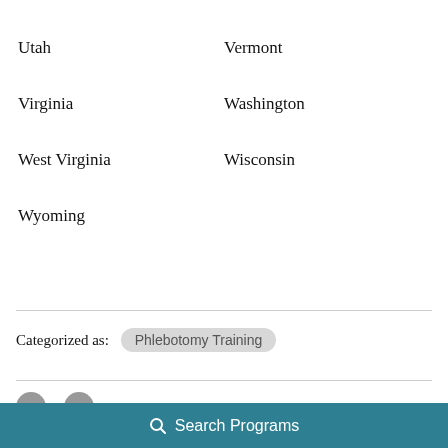Utah
Vermont
Virginia
Washington
West Virginia
Wisconsin
Wyoming
Categorized as: Phlebotomy Training
Search Programs